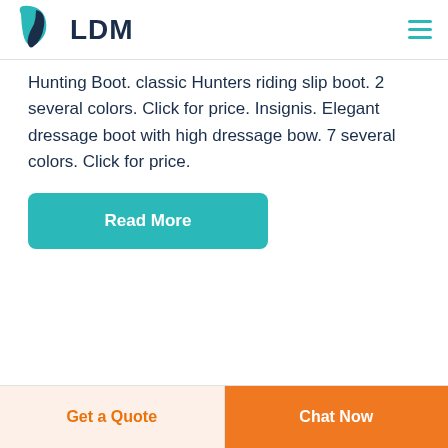LDM
Hunting Boot. classic Hunters riding slip boot. 2 several colors. Click for price. Insignis. Elegant dressage boot with high dressage bow. 7 several colors. Click for price.
Read More
Get a Quote   Chat Now